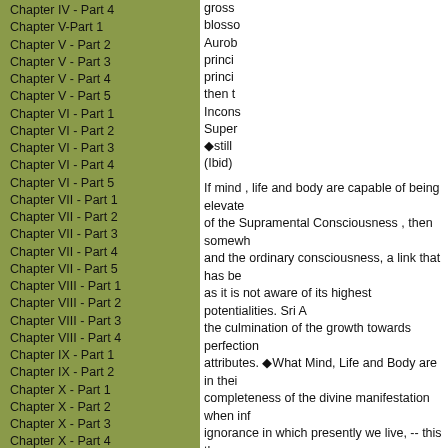Chapter IV - Part 4
Chapter V-Part 1
Chapter V - Part 2
Chapter V - Part 3
Chapter V - Part 4
Chapter V - Part 5
Chapter VI - Part 1
Chapter VI - Part 2
Chapter VI - Part 3
Chapter VI - Part 4
Chapter VI - Part 5
Chapter VII - Part 1
Chapter VII - Part 2
Chapter VII - Part 3
Chapter VII - Part 4
Chapter VII - Part 5
Chapter VIII - Part 1
Chapter VIII - Part 2
Chapter VIII - Part 3
Chapter VIII - Part 4
Chapter IX - Part 1
Chapter IX - Part 2
Chapter X - Part 1
Chapter X - Part 2
Chapter X - Part 3
Chapter X - Part 4
Chapter X - Part 5
Chapter X - Part 6
Chapter XI - Part 1
Chapter XI - Part 2
Chapter XI - Part 3
gross blosso Aurob princi princi then t Incons Super ◆still (Ibid) aeons estab prese which non-e we im In fac optima the fl turbu chara
If mind , life and body are capable of being elevated of the Supramental Consciousness , then somewh and the ordinary consciousness, a link that has be as it is not aware of its highest potentialities. Sri A the culmination of the growth towards perfection attributes. ◆What Mind, Life and Body are in thei completeness of the divine manifestation when inf ignorance in which presently we live, -- this then have already their perfection towards which we he the terms of our highest evolution must already